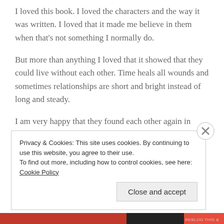I loved this book. I loved the characters and the way it was written. I loved that it made me believe in them when that's not something I normally do.
But more than anything I loved that it showed that they could live without each other. Time heals all wounds and sometimes relationships are short and bright instead of long and steady.
I am very happy that they found each other again in th...
Privacy & Cookies: This site uses cookies. By continuing to use this website, you agree to their use.
To find out more, including how to control cookies, see here: Cookie Policy